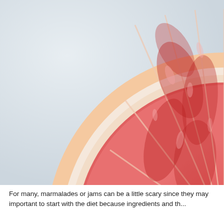[Figure (photo): Close-up photo of a halved grapefruit cross-section showing deep red/pink flesh segments, white pith, and outer peel, against a light blue-grey background. Only the right half of the grapefruit is visible, cropped at the left edge.]
For many, marmalades or jams can be a little scary since they may important to start with the diet because ingredients and th...